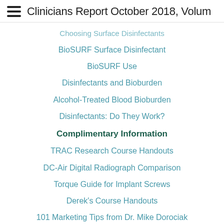Clinicians Report October 2018, Volume…
Choosing Surface Disinfectants
BioSURF Surface Disinfectant
BioSURF Use
Disinfectants and Bioburden
Alcohol-Treated Blood Bioburden
Disinfectants: Do They Work?
Complimentary Information
TRAC Research Course Handouts
DC-Air Digital Radiograph Comparison
Torque Guide for Implant Screws
Derek's Course Handouts
101 Marketing Tips from Dr. Mike Dorociak
Triturated Materials
Provisional Cements Addendum